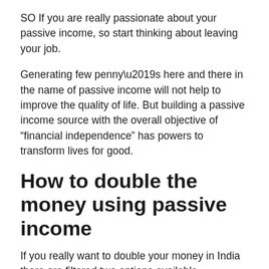SO If you are really passionate about your passive income, so start thinking about leaving your job.
Generating few penny’s here and there in the name of passive income will not help to improve the quality of life. But building a passive income source with the overall objective of “financial independence” has powers to transform lives for good.
How to double the money using passive income
If you really want to double your money in India there are filtered two options available.
With Investment